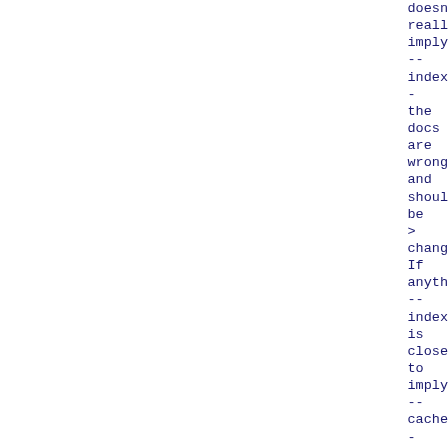doesn
reall
imply
--
index
-
the
docs
are
wrong
and
shoul
be
>
chang
If
anyth
--
index
is
close
to
imply
--
cache
-
but
>
reall
[no